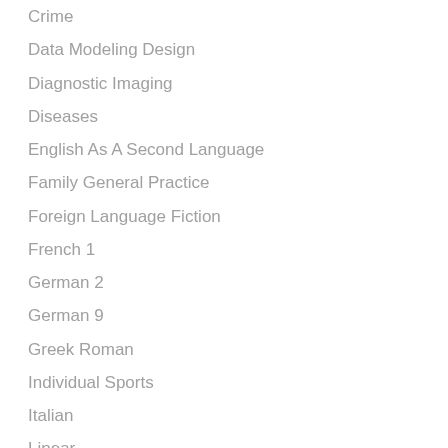Crime
Data Modeling Design
Diagnostic Imaging
Diseases
English As A Second Language
Family General Practice
Foreign Language Fiction
French 1
German 2
German 9
Greek Roman
Individual Sports
Italian
Linear
Linear Programming
Literature Fiction
Mathematics